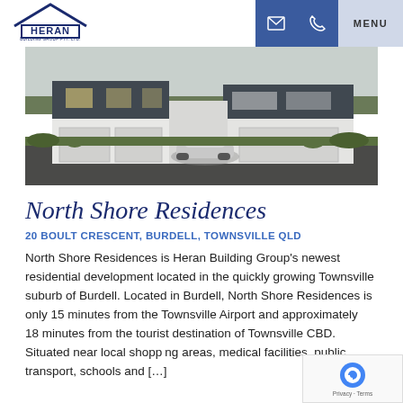Heran Building Group Pty. Ltd. — MENU
[Figure (photo): Exterior rendering of North Shore Residences townhouses — modern two-storey homes with dark cladding, white rendered lower level, garage doors, and a car parked in the driveway, surrounded by landscaping.]
North Shore Residences
20 BOULT CRESCENT, BURDELL, TOWNSVILLE QLD
North Shore Residences is Heran Building Group's newest residential development located in the quickly growing Townsville suburb of Burdell. Located in Burdell, North Shore Residences is only 15 minutes from the Townsville Airport and approximately 18 minutes from the tourist destination of Townsville CBD. Situated near local shopping areas, medical facilities, public transport, schools and […]